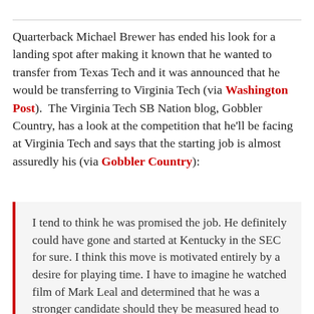Quarterback Michael Brewer has ended his look for a landing spot after making it known that he wanted to transfer from Texas Tech and it was announced that he would be transferring to Virginia Tech (via Washington Post).  The Virginia Tech SB Nation blog, Gobbler Country, has a look at the competition that he'll be facing at Virginia Tech and says that the starting job is almost assuredly his (via Gobbler Country):
I tend to think he was promised the job. He definitely could have gone and started at Kentucky in the SEC for sure. I think this move is motivated entirely by a desire for playing time. I have to imagine he watched film of Mark Leal and determined that he was a stronger candidate should they be measured head to head. And truth be told, he should be confident: